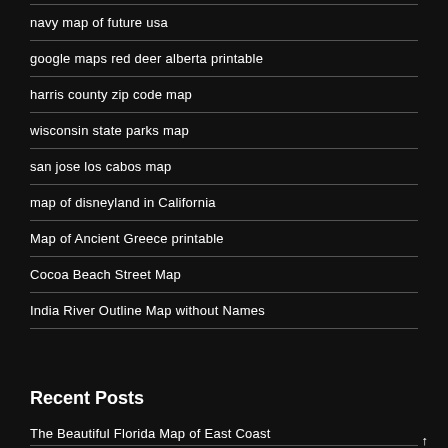navy map of future usa
google maps red deer alberta printable
harris county zip code map
wisconsin state parks map
san jose los cabos map
map of disneyland in California
Map of Ancient Greece printable
Cocoa Beach Street Map
India River Outline Map without Names
Recent Posts
The Beautiful Florida Map of East Coast